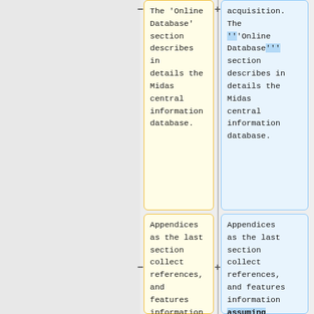The 'Online Database' section describes in details the Midas central information database.
acquisition. The ''Online Database''' section describes in details the Midas central information database.
Appendices as the last section collect references, and features information with the understanding that the
Appendices as the last section collect references, and features information assuming that the reader is